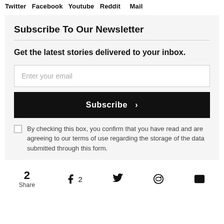Twitter  Facebook  Youtube  Reddit  Mail
Subscribe To Our Newsletter
Get the latest stories delivered to your inbox.
Enter your email
Subscribe ›
By checking this box, you confirm that you have read and are agreeing to our terms of use regarding the storage of the data submitted through this form.
2 Share  Facebook 2  Twitter  Reddit  Mail